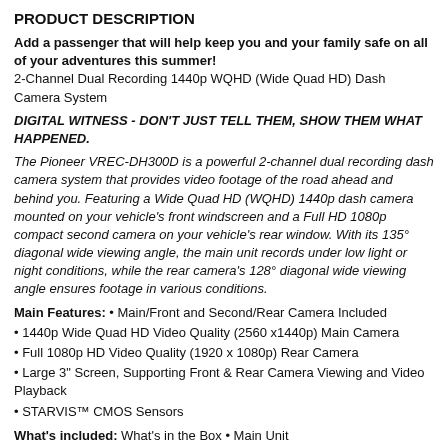PRODUCT DESCRIPTION
Add a passenger that will help keep you and your family safe on all of your adventures this summer! 2-Channel Dual Recording 1440p WQHD (Wide Quad HD) Dash Camera System
DIGITAL WITNESS - DON'T JUST TELL THEM, SHOW THEM WHAT HAPPENED.
The Pioneer VREC-DH300D is a powerful 2-channel dual recording dash camera system that provides video footage of the road ahead and behind you. Featuring a Wide Quad HD (WQHD) 1440p dash camera mounted on your vehicle's front windscreen and a Full HD 1080p compact second camera on your vehicle's rear window. With its 135° diagonal wide viewing angle, the main unit records under low light or night conditions, while the rear camera's 128° diagonal wide viewing angle ensures footage in various conditions.
Main Features: • Main/Front and Second/Rear Camera Included
• 1440p Wide Quad HD Video Quality (2560 x1440p) Main Camera
• Full 1080p HD Video Quality (1920 x 1080p) Rear Camera
• Large 3" Screen, Supporting Front & Rear Camera Viewing and Video Playback
• STARVIS™ CMOS Sensors
What's included: What's in the Box • Main Unit
• 16 GB microSDHC Card
• Mounting Bracket
• Rear Camera with 9' 10" cable
• Rear camera connection cable 10' 9"